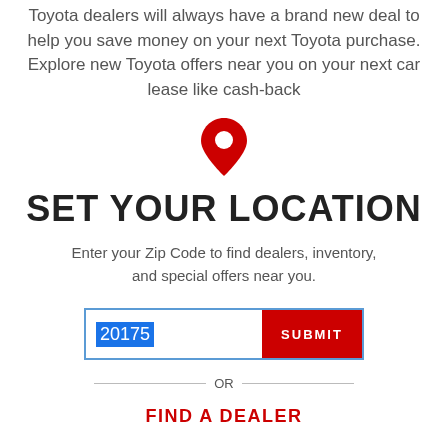Toyota dealers will always have a brand new deal to help you save money on your next Toyota purchase. Explore new Toyota offers near you on your next car lease like cash-back
[Figure (illustration): Red map pin / location marker icon]
SET YOUR LOCATION
Enter your Zip Code to find dealers, inventory, and special offers near you.
20175  SUBMIT
OR
FIND A DEALER